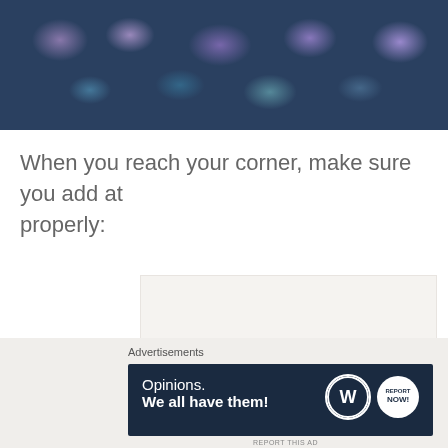[Figure (photo): Close-up photo of dark blue and purple floral textile or fabric with textured pattern]
When you reach your corner, make sure you add at properly:
[Figure (photo): Photo showing a corner of a crochet or knitting project on light/white background, with a pink hand visible at bottom right]
Advertisements
[Figure (other): Advertisement banner: dark navy background with text 'Opinions. We all have them!' and WordPress logo and another circular logo on the right]